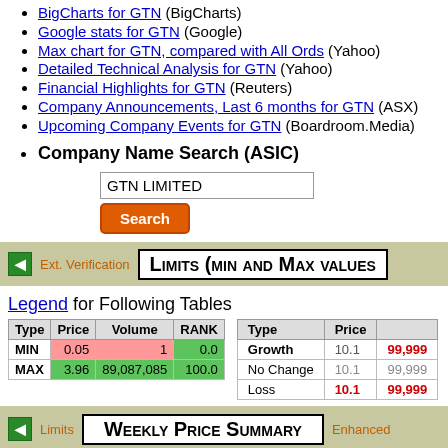BigCharts for GTN (BigCharts)
Google stats for GTN (Google)
Max chart for GTN, compared with All Ords (Yahoo)
Detailed Technical Analysis for GTN (Yahoo)
Financial Highlights for GTN (Reuters)
Company Announcements, Last 6 months for GTN (ASX)
Upcoming Company Events for GTN (Boardroom.Media)
Company Name Search (ASIC)
GTN LIMITED [Search box] [Search button]
Limits (Min and Max Values)
Legend for Following Tables
| Type | Price | Volume | RANK |
| --- | --- | --- | --- |
| MIN | 0.05 | 1 | 0.0 |
| MAX | 3.96 | 89,087,085 | 100.0 |
| Type | Price |
| --- | --- |
| Growth | 10.1 | 99,999 |
| No Change | 10.1 | 99,999 |
| Loss | 10.1 | 99,999 |
Weekly Price Summary